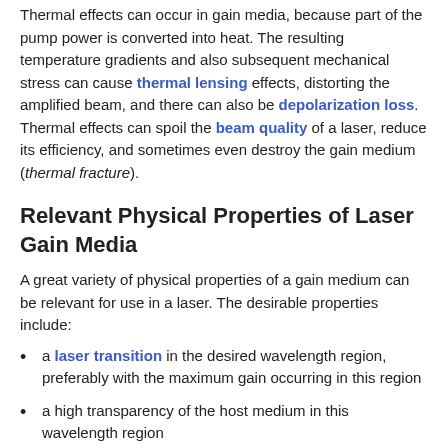Thermal effects can occur in gain media, because part of the pump power is converted into heat. The resulting temperature gradients and also subsequent mechanical stress can cause thermal lensing effects, distorting the amplified beam, and there can also be depolarization loss. Thermal effects can spoil the beam quality of a laser, reduce its efficiency, and sometimes even destroy the gain medium (thermal fracture).
Relevant Physical Properties of Laser Gain Media
A great variety of physical properties of a gain medium can be relevant for use in a laser. The desirable properties include:
a laser transition in the desired wavelength region, preferably with the maximum gain occurring in this region
a high transparency of the host medium in this wavelength region
a pump wavelength for which a good pump source is available (in case of an optically pumped laser); efficient